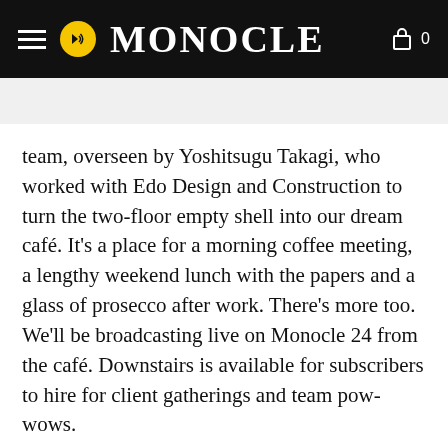MONOCLE
ESS  CULTURE  DESIGN  EDITS  EXPO
team, overseen by Yoshitsugu Takagi, who worked with Edo Design and Construction to turn the two-floor empty shell into our dream café. It's a place for a morning coffee meeting, a lengthy weekend lunch with the papers and a glass of prosecco after work. There's more too. We'll be broadcasting live on Monocle 24 from the café. Downstairs is available for subscribers to hire for client gatherings and team pow-wows.
We've installed a short throw projector from